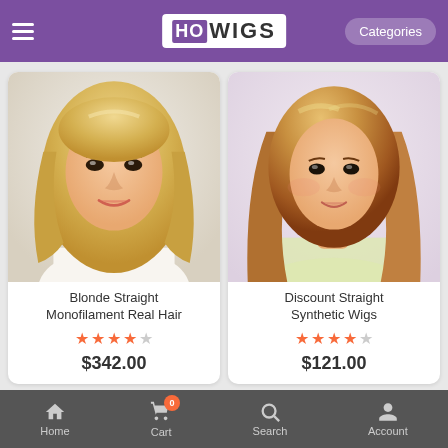HOWIGS — Categories
[Figure (screenshot): Product image of a woman wearing a blonde straight wig (Blonde Straight Monofilament Real Hair wig product photo)]
Blonde Straight Monofilament Real Hair
★★★★☆ (3.5 stars out of 5)
$342.00
[Figure (screenshot): Product image of a woman wearing a strawberry blonde layered wig (Discount Straight Synthetic Wigs product photo)]
Discount Straight Synthetic Wigs
★★★★☆ (4 stars out of 5)
$121.00
Home   Cart (0)   Search   Account